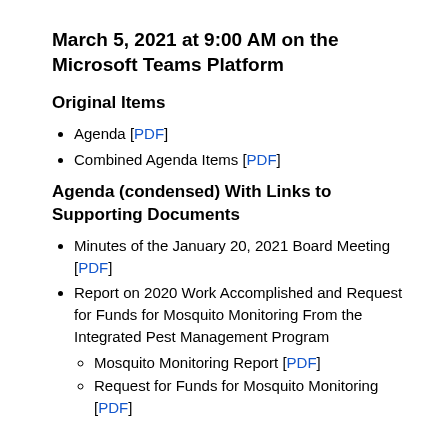March 5, 2021 at 9:00 AM on the Microsoft Teams Platform
Original Items
Agenda [PDF]
Combined Agenda Items [PDF]
Agenda (condensed) With Links to Supporting Documents
Minutes of the January 20, 2021 Board Meeting [PDF]
Report on 2020 Work Accomplished and Request for Funds for Mosquito Monitoring From the Integrated Pest Management Program
Mosquito Monitoring Report [PDF]
Request for Funds for Mosquito Monitoring [PDF]